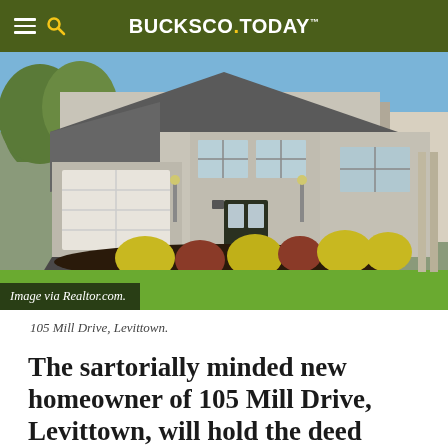BUCKSCO.TODAY
[Figure (photo): Exterior photo of a suburban two-story house at 105 Mill Drive, Levittown, with a one-car garage, landscaped front yard with yellow and red bushes, green lawn, and a blacktop driveway. Caption overlay reads: Image via Realtor.com.]
Image via Realtor.com.
105 Mill Drive, Levittown.
The sartorially minded new homeowner of 105 Mill Drive, Levittown, will hold the deed to a property that enables plenty of opportunities to ensure his or her look is